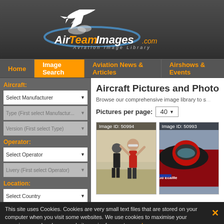[Figure (logo): AirTeamImages.com Aviation Image Library logo with stylized aircraft and swoosh]
Home | Image Search | Aviation News & Articles | Airshows & Events
Aircraft Pictures and Photos
Browse our comprehensive image library to search...
Pictures per page: 40
Aircraft: Select Manufacturer | Type (First select Manufacturer) | Version (First select Type)
Operator: Select Operator | Livery (First select Operator)
Location: Select Country | Location (First select Country)
Themes
[Figure (photo): Image ID: 50994 - Two people on airfield, one in red shirt with arms raised]
[Figure (photo): Image ID: 50993 - Racing car cockpit with Renaud Ecalle livery]
This site uses Cookies. Cookies are very small text files that are stored on your computer when you visit some websites. We use cookies to maximise your experience and make our website easier for you to use. Learn more